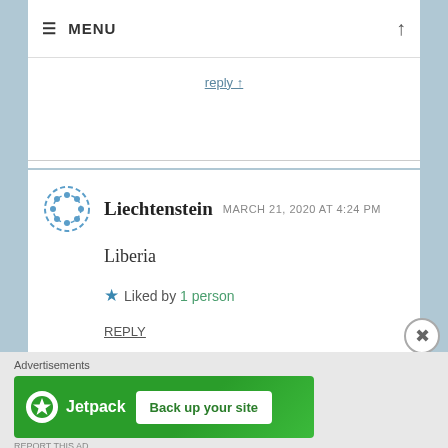≡ MENU
Reply ↑ (partially visible link)
Liechtenstein  MARCH 21, 2020 AT 4:24 PM
Liberia
★ Liked by 1 person
REPLY
[Figure (other): Jetpack advertisement banner: green background, Jetpack logo and name on left, 'Back up your site' button on right]
Advertisements
REPORT THIS AD